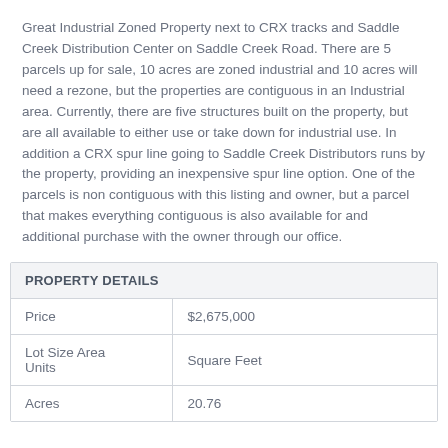Great Industrial Zoned Property next to CRX tracks and Saddle Creek Distribution Center on Saddle Creek Road. There are 5 parcels up for sale, 10 acres are zoned industrial and 10 acres will need a rezone, but the properties are contiguous in an Industrial area. Currently, there are five structures built on the property, but are all available to either use or take down for industrial use. In addition a CRX spur line going to Saddle Creek Distributors runs by the property, providing an inexpensive spur line option. One of the parcels is non contiguous with this listing and owner, but a parcel that makes everything contiguous is also available for and additional purchase with the owner through our office.
| PROPERTY DETAILS |  |
| --- | --- |
| Price | $2,675,000 |
| Lot Size Area Units | Square Feet |
| Acres | 20.76 |